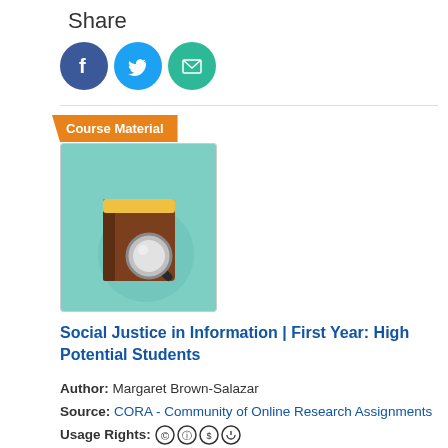Share
[Figure (illustration): Social media share icons: Facebook (blue circle with F), Twitter (blue circle with bird), Email (teal circle with envelope)]
[Figure (illustration): Course Material thumbnail showing a book with magnifying glass icon on teal background, with orange 'Course Material' badge]
Social Justice in Information | First Year: High Potential Students
Author: Margaret Brown-Salazar
Source: CORA - Community of Online Research Assignments
Usage Rights: [CC icons]
Publication Date: January 26, 2017